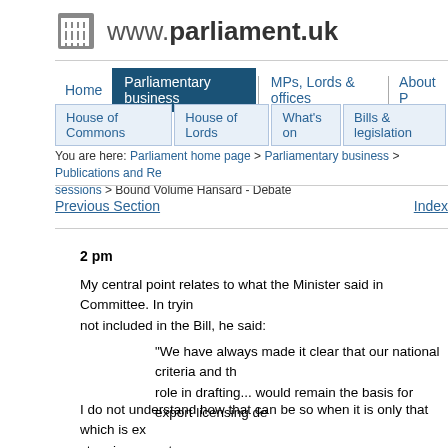www.parliament.uk
Home | Parliamentary business | MPs, Lords & offices | About Parliament
House of Commons | House of Lords | What's on | Bills & legislation
You are here: Parliament home page > Parliamentary business > Publications and Records sessions > Bound Volume Hansard - Debate
Previous Section    Index
2 pm
My central point relates to what the Minister said in Committee. In trying not included in the Bill, he said:
"We have always made it clear that our national criteria and the role in drafting... would remain the basis for export licensing de
I do not understand how that can be so when it is only that which is ex stopping exports.